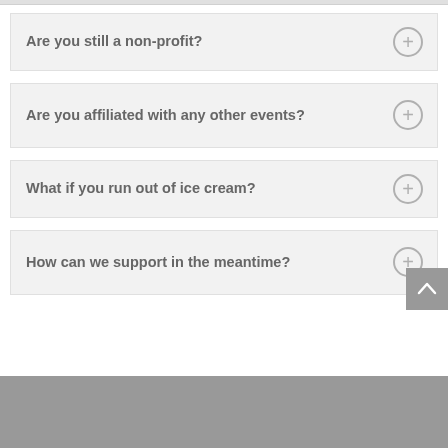Are you still a non-profit?
Are you affiliated with any other events?
What if you run out of ice cream?
How can we support in the meantime?